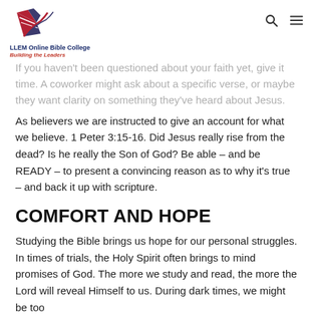LLEM Online Bible College — Building the Leaders
If you haven't been questioned about your faith yet, give it time. A coworker might ask about a specific verse, or maybe they want clarity on something they've heard about Jesus.
As believers we are instructed to give an account for what we believe. 1 Peter 3:15-16. Did Jesus really rise from the dead? Is he really the Son of God? Be able – and be READY – to present a convincing reason as to why it's true – and back it up with scripture.
COMFORT AND HOPE
Studying the Bible brings us hope for our personal struggles. In times of trials, the Holy Spirit often brings to mind promises of God. The more we study and read, the more the Lord will reveal Himself to us. During dark times, we might be too